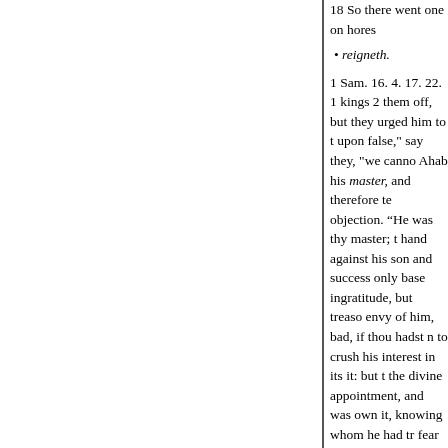18 So there went one on hores
• reigneth.
1 Sam. 16. 4. 17. 22. 1 kings 2 them off, but they urged him to t upon false," say they, "we canno Ahab his master, and therefore te objection. "He was thy master; t hand against his son and success only base ingratitude, but treaso envy of him, bad, if thou hadst n to crush his interest in its it: but t the divine appointment, and was own it, knowing whom he had tr fear not, him, would stand by hi what respect they compliment th command the first notice of his a they thought of the prophet that manner, do this they expressed a of Ahab, he tells him,
that was anointed, and were very of the contro- sound of trumpet. this quarrel with them, that he to that which God had